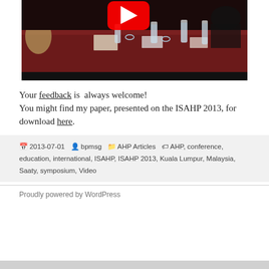[Figure (screenshot): Screenshot of a YouTube video showing a conference scene with people seated at a table covered with a dark red tablecloth, water bottles, and papers. A YouTube play button is visible at the top center.]
Your feedback is always welcome! You might find my paper, presented on the ISAHP 2013, for download here.
2013-07-01  bpmsg  AHP Articles  AHP, conference, education, international, ISAHP, ISAHP 2013, Kuala Lumpur, Malaysia, Saaty, symposium, Video
Proudly powered by WordPress